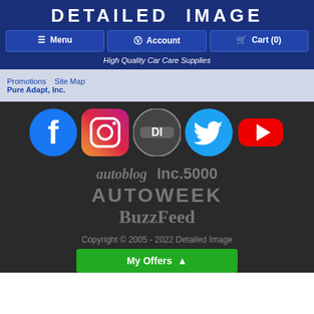DETAILED IMAGE
Menu   Account   Cart (0)
High Quality Car Care Supplies
Promotions   Site Map   Pure Adapt, Inc.
[Figure (logo): Social media icons: Facebook, Instagram, DI (Detailed Image), Twitter, YouTube]
[Figure (logo): Brand mention logos: autoblog, Inc.5000, AUTOWEEK, BuzzFeed]
Copyright © 2005 - 2022 Detailed Image
My Offers ^